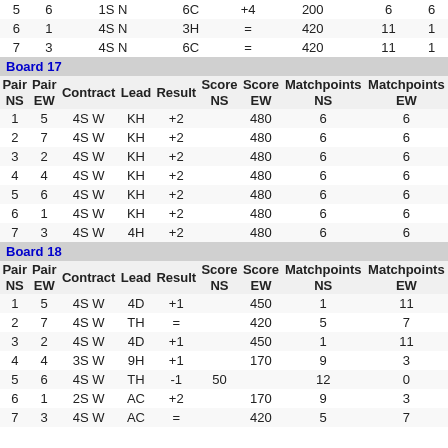| Pair NS | Pair EW | Contract | Lead | Result | Score NS | Score EW | Matchpoints NS | Matchpoints EW |
| --- | --- | --- | --- | --- | --- | --- | --- | --- |
| 5 | 6 | 1S N | 6C | +4 | 200 |  | 6 | 6 |
| 6 | 1 | 4S N | 3H | = | 420 |  | 11 | 1 |
| 7 | 3 | 4S N | 6C | = | 420 |  | 11 | 1 |
Board 17
| Pair NS | Pair EW | Contract | Lead | Result | Score NS | Score EW | Matchpoints NS | Matchpoints EW |
| --- | --- | --- | --- | --- | --- | --- | --- | --- |
| 1 | 5 | 4S W | KH | +2 |  | 480 | 6 | 6 |
| 2 | 7 | 4S W | KH | +2 |  | 480 | 6 | 6 |
| 3 | 2 | 4S W | KH | +2 |  | 480 | 6 | 6 |
| 4 | 4 | 4S W | KH | +2 |  | 480 | 6 | 6 |
| 5 | 6 | 4S W | KH | +2 |  | 480 | 6 | 6 |
| 6 | 1 | 4S W | KH | +2 |  | 480 | 6 | 6 |
| 7 | 3 | 4S W | 4H | +2 |  | 480 | 6 | 6 |
Board 18
| Pair NS | Pair EW | Contract | Lead | Result | Score NS | Score EW | Matchpoints NS | Matchpoints EW |
| --- | --- | --- | --- | --- | --- | --- | --- | --- |
| 1 | 5 | 4S W | 4D | +1 |  | 450 | 1 | 11 |
| 2 | 7 | 4S W | TH | = |  | 420 | 5 | 7 |
| 3 | 2 | 4S W | 4D | +1 |  | 450 | 1 | 11 |
| 4 | 4 | 3S W | 9H | +1 |  | 170 | 9 | 3 |
| 5 | 6 | 4S W | TH | -1 | 50 |  | 12 | 0 |
| 6 | 1 | 2S W | AC | +2 |  | 170 | 9 | 3 |
| 7 | 3 | 4S W | AC | = |  | 420 | 5 | 7 |